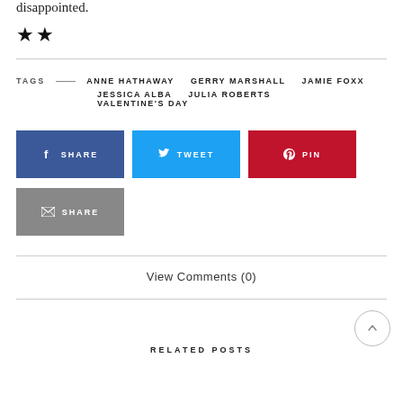disappointed.
★★
TAGS — ANNE HATHAWAY  GERRY MARSHALL  JAMIE FOXX  JESSICA ALBA  JULIA ROBERTS  VALENTINE'S DAY
[Figure (infographic): Social share buttons: Facebook SHARE (dark blue), Twitter TWEET (light blue), Pinterest PIN (red), Email SHARE (gray)]
View Comments (0)
RELATED POSTS